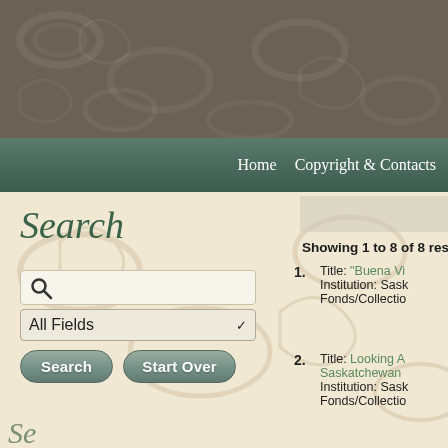Home   Copyright & Contacts
Search
Showing 1 to 8 of 8 results
1. Title: "Buena Vi... Institution: Sask... Fonds/Collectio...
2. Title: Looking A... Saskatchewan... Institution: Sask... Fonds/Collectio...